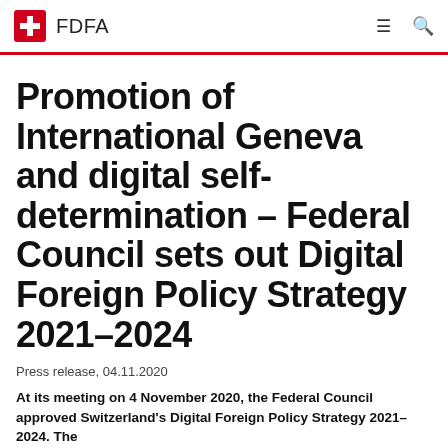FDFA
Promotion of International Geneva and digital self-determination – Federal Council sets out Digital Foreign Policy Strategy 2021–2024
Press release, 04.11.2020
At its meeting on 4 November 2020, the Federal Council approved Switzerland's Digital Foreign Policy Strategy 2021–2024. The